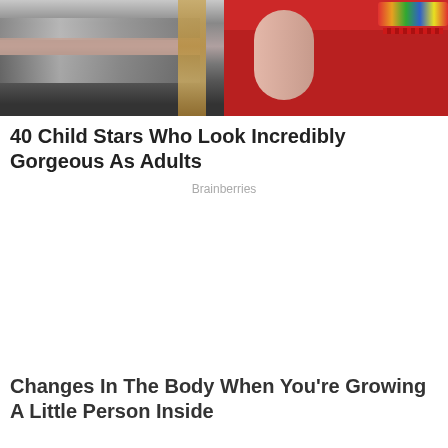[Figure (photo): Two side-by-side photos: left shows a person in a metallic silver outfit with a braid; right shows a person in a red dress with a colorful rainbow bracelet.]
40 Child Stars Who Look Incredibly Gorgeous As Adults
Brainberries
[Figure (photo): Advertisement placeholder space (blank white area)]
Changes In The Body When You’re Growing A Little Person Inside